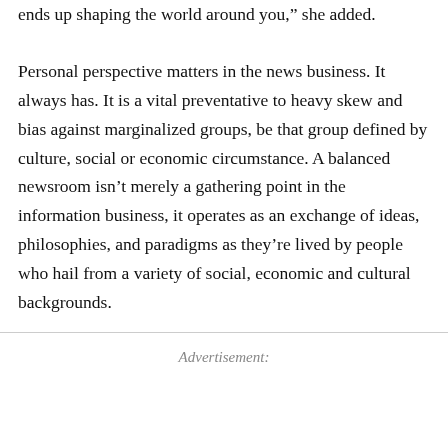ends up shaping the world around you," she added.
Personal perspective matters in the news business. It always has. It is a vital preventative to heavy skew and bias against marginalized groups, be that group defined by culture, social or economic circumstance. A balanced newsroom isn't merely a gathering point in the information business, it operates as an exchange of ideas, philosophies, and paradigms as they're lived by people who hail from a variety of social, economic and cultural backgrounds.
Advertisement: